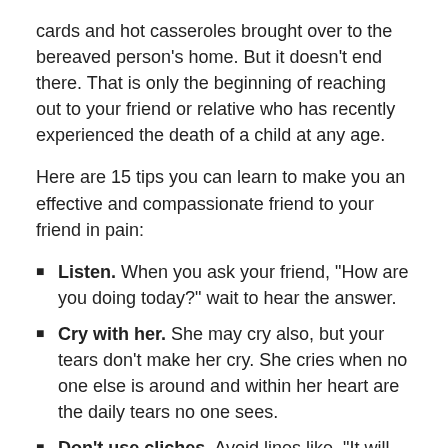cards and hot casseroles brought over to the bereaved person’s home. But it doesn’t end there. That is only the beginning of reaching out to your friend or relative who has recently experienced the death of a child at any age.
Here are 15 tips you can learn to make you an effective and compassionate friend to your friend in pain:
Listen. When you ask your friend, “How are you doing today?” wait to hear the answer.
Cry with her. She may cry also, but your tears don’t make her cry. She cries when no one else is around and within her heart are the daily tears no one sees.
Don’t use cliches. Avoid lines like, “It will get better.” “Be grateful you have other children.” “You’re young, you can have another baby.” “He was sick, and it’s good he is no longer suffering.” There will never be a